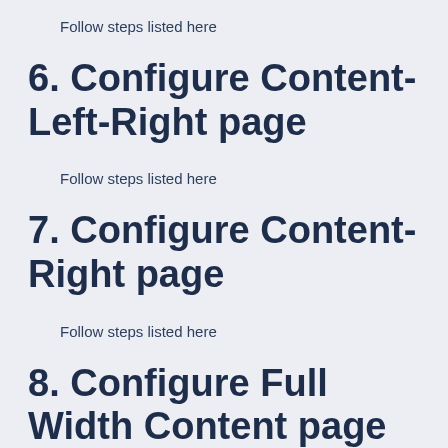Follow steps listed here
6. Configure Content-Left-Right page
Follow steps listed here
7. Configure Content-Right page
Follow steps listed here
8. Configure Full Width Content page